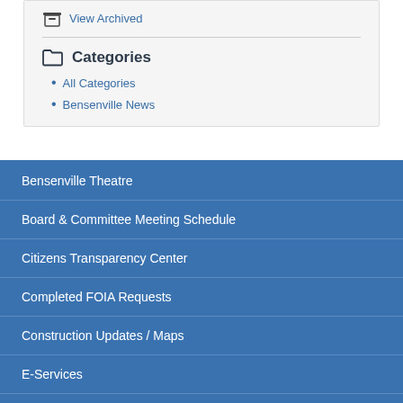View Archived
Categories
All Categories
Bensenville News
Bensenville Theatre
Board & Committee Meeting Schedule
Citizens Transparency Center
Completed FOIA Requests
Construction Updates / Maps
E-Services
Media & Updates